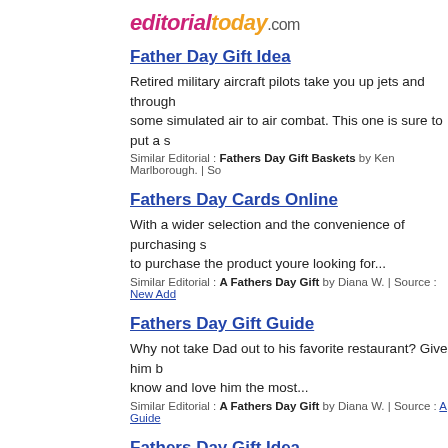[Figure (logo): editorialtoday.com logo with pink/magenta 'editorial', orange 'today', gray '.com']
Father Day Gift Idea
Retired military aircraft pilots take you up jets and through some simulated air to air combat. This one is sure to put a s
Similar Editorial : Fathers Day Gift Baskets by Ken Marlborough. | So
Fathers Day Cards Online
With a wider selection and the convenience of purchasing s to purchase the product youre looking for...
Similar Editorial : A Fathers Day Gift by Diana W. | Source : New Add
Fathers Day Gift Guide
Why not take Dad out to his favorite restaurant? Give him b know and love him the most...
Similar Editorial : A Fathers Day Gift by Diana W. | Source : A Guide
Fathers Day Gift Idea
Hopefully some of these ideas have sparked your creativity hunting!...
Similar Editorial : A Fathers Day Gift by Diana W. | Source : Fathers D
How To Bubble Bath